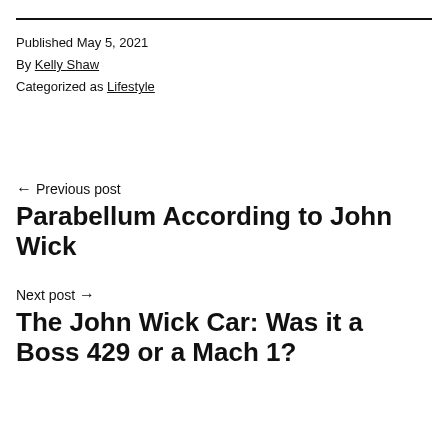Published May 5, 2021
By Kelly Shaw
Categorized as Lifestyle
← Previous post
Parabellum According to John Wick
Next post →
The John Wick Car: Was it a Boss 429 or a Mach 1?